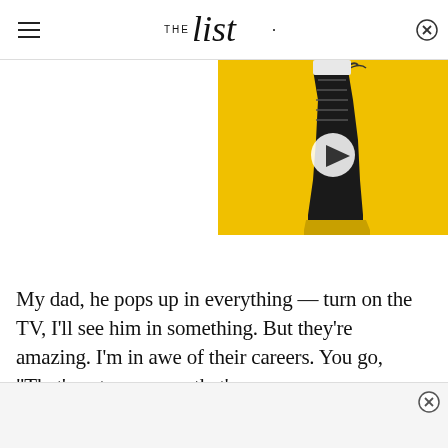THE list
[Figure (photo): Video thumbnail showing a black lace-up boot on a yellow background with a play button overlay]
My dad, he pops up in everything — turn on the TV, I'll see him in something. But they're amazing. I'm in awe of their careers. You go, "That's not my mom, that's